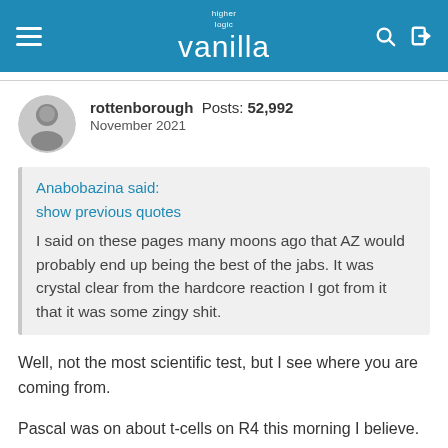higher logic vanilla
rottenborough Posts: 52,992 November 2021
Anabobazina said:
show previous quotes
I said on these pages many moons ago that AZ would probably end up being the best of the jabs. It was crystal clear from the hardcore reaction I got from it that it was some zingy shit.
Well, not the most scientific test, but I see where you are coming from.
Pascal was on about t-cells on R4 this morning I believe.